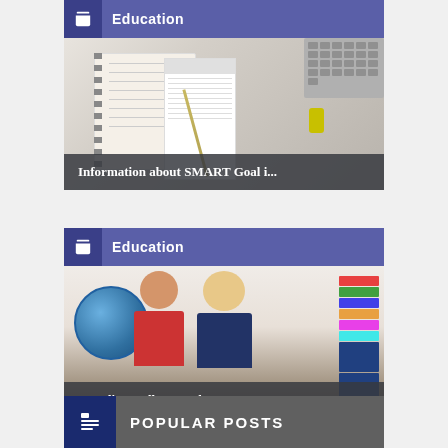Education
[Figure (photo): Flat lay of notebooks, planner, pencil, paperclip, and laptop keyboard on a desk]
Information about SMART Goal i...
Education
[Figure (photo): Two young boys sitting at a desk with a globe, books and school supplies]
Trending College Hashtags on S...
POPULAR POSTS